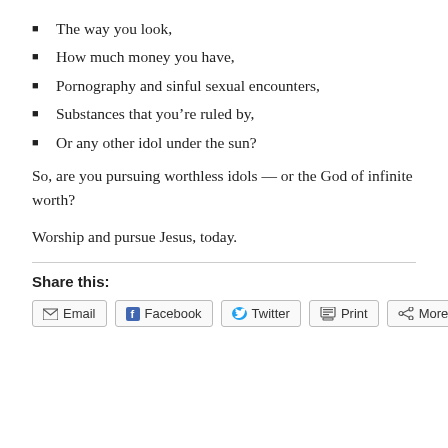The way you look,
How much money you have,
Pornography and sinful sexual encounters,
Substances that you're ruled by,
Or any other idol under the sun?
So, are you pursuing worthless idols — or the God of infinite worth?
Worship and pursue Jesus, today.
Share this:
Email | Facebook | Twitter | Print | More